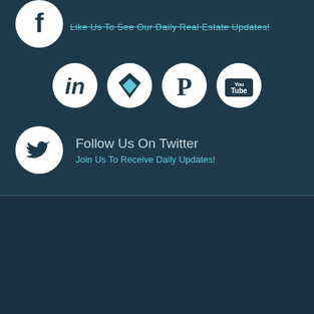Like Us To See Our Daily Real Estate Updates!
[Figure (illustration): LinkedIn, custom brand, Pinterest, and YouTube circular social media icons in white on dark teal background]
Follow Us On Twitter
Join Us To Receive Daily Updates!
[Figure (illustration): Twitter bird icon in white circle]
About Us  Reviews  Contact Us  Site Map  Widget
RealEstateAgent.Com © 2022
Privacy Policy
Terms Of Use
Client Login  Employment Opportunities
Miami Dedicated Servers
RealEstateAgent.Com Is A Method Of Real Estate